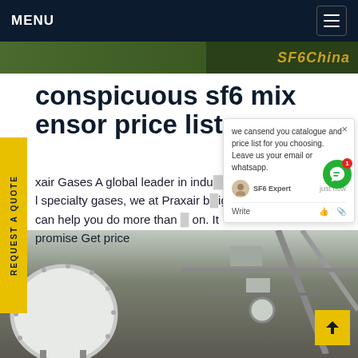MENU
[Figure (photo): Top green image strip with SF6China logo text in orange/gold italic]
conspicuous sf6 mix ensor price list
xair Gases A global leader in indu... l specialty gases, we at Praxair b... can help you do more than ... promise Get price
[Figure (screenshot): Chat popup widget showing: we can send you catalogue and price list for you choosing. Leave us your email or whatsapp. SF6 Expert just now. Write (with icons). Close X button. Green chat circle button with badge 1.]
[Figure (photo): Industrial equipment photo showing large white spherical tank and piping inside a facility]
REQUEST A QUOTE